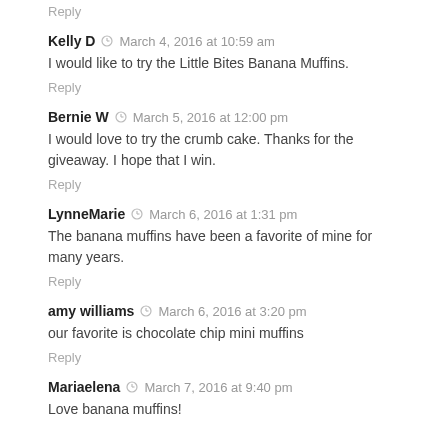Reply
Kelly D  ·  March 4, 2016 at 10:59 am
I would like to try the Little Bites Banana Muffins.
Reply
Bernie W  ·  March 5, 2016 at 12:00 pm
I would love to try the crumb cake. Thanks for the giveaway. I hope that I win.
Reply
LynneMarie  ·  March 6, 2016 at 1:31 pm
The banana muffins have been a favorite of mine for many years.
Reply
amy williams  ·  March 6, 2016 at 3:20 pm
our favorite is chocolate chip mini muffins
Reply
Mariaelena  ·  March 7, 2016 at 9:40 pm
Love banana muffins!